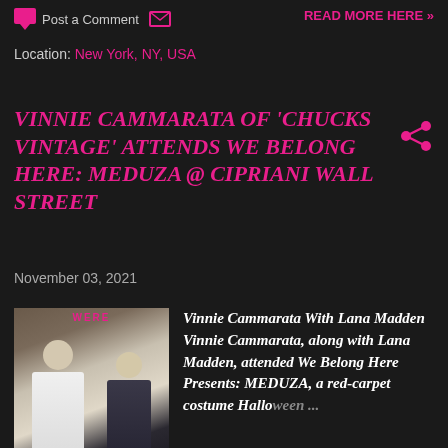Post a Comment  READ MORE HERE »
Location: New York, NY, USA
VINNIE CAMMARATA OF 'CHUCKS VINTAGE' ATTENDS WE BELONG HERE: MEDUZA @ CIPRIANI WALL STREET
November 03, 2021
[Figure (photo): Photo of two people at an event, one in a white suit and one in a dark gown, with 'We Belong Here' text visible in the background]
Vinnie Cammarata With Lana Madden Vinnie Cammarata, along with Lana Madden, attended We Belong Here Presents: MEDUZA, a red-carpet costume Halloween ...